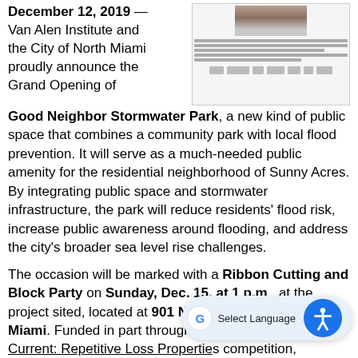December 12, 2019 — Van Alen Institute and the City of North Miami proudly announce the Grand Opening of Good Neighbor Stormwater Park, a new kind of public space that combines a community park with local flood prevention. It will serve as a much-needed public amenity for the residential neighborhood of Sunny Acres. By integrating public space and stormwater infrastructure, the park will reduce residents' flood risk, increase public awareness around flooding, and address the city's broader sea level rise challenges.
[Figure (screenshot): Screenshot of a web page about Good Neighbor Stormwater Park showing a photo and text with logos at the bottom]
The occasion will be marked with a Ribbon Cutting and Block Party on Sunday, Dec. 15, at 1 p.m., at the project sited, located at 901 NE 144th Street, North Miami. Funded in part through the $80,000 Keeping Current: Repetitive Loss Properties competition, Department Design Office won the